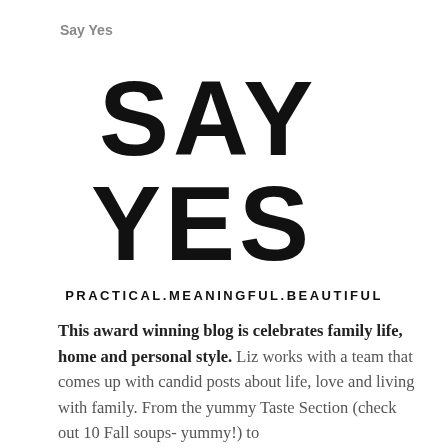Say Yes
[Figure (logo): SAY YES logo in large bold serif letters with stylized S characters]
PRACTICAL.MEANINGFUL.BEAUTIFUL
This award winning blog is celebrates family life, home and personal style. Liz works with a team that comes up with candid posts about life, love and living with family. From the yummy Taste Section (check out 10 Fall soups- yummy!) to